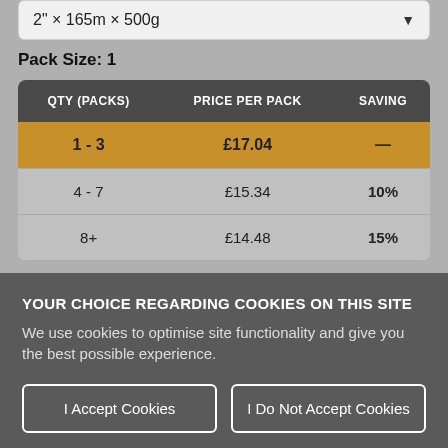2" × 165m × 500g
Pack Size: 1
| QTY (PACKS) | PRICE PER PACK | SAVING |
| --- | --- | --- |
| 1 - 3 | £17.04 | — |
| 4 - 7 | £15.34 | 10% |
| 8+ | £14.48 | 15% |
YOUR CHOICE REGARDING COOKIES ON THIS SITE
We use cookies to optimise site functionality and give you the best possible experience.
I Accept Cookies
I Do Not Accept Cookies
Settings